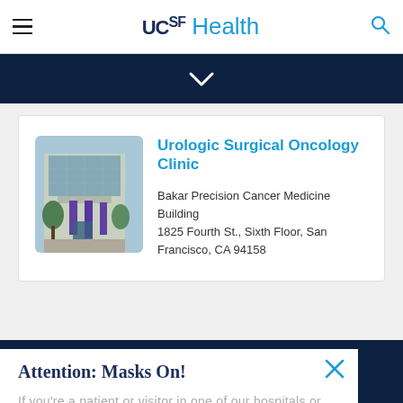UCSF Health (navigation bar with hamburger menu and search icon)
[Figure (screenshot): Dark navy banner with a downward chevron arrow]
[Figure (photo): Photo of the Bakar Precision Cancer Medicine Building exterior with purple banners]
Urologic Surgical Oncology Clinic
Bakar Precision Cancer Medicine Building
1825 Fourth St., Sixth Floor, San Francisco, CA 94158
Attention: Masks On!
If you're a patient or visitor in one of our hospitals or clinics, you're required to wear a mask indoors.